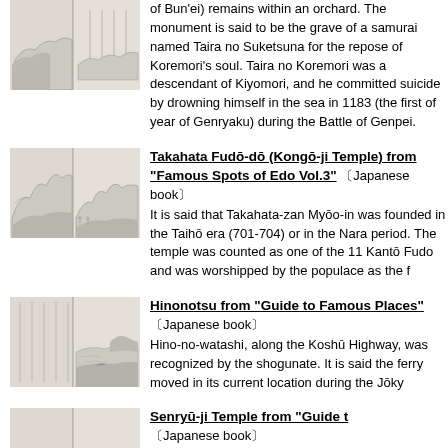[Figure (illustration): Japanese woodblock print sketch showing landscape/text panels, partial top entry]
of Bun'ei) remains within an orchard. The monument is said to be the grave of a samurai named Taira no Suketsuna for the repose of Koremori's soul. Taira no Koremori was a descendant of Kiyomori, and he committed suicide by drowning himself in the sea in 1183 (the first of year of Genryaku) during the Battle of Genpei.
[Figure (illustration): Japanese woodblock print of Takahata Fudo-do showing mountain landscape]
Takahata Fudō-dō (Kongō-ji Temple) from "Famous Spots of Edo Vol.3" 《Japanese book》 It is said that Takahata-zan Myōo-in was founded in the Taihō era (701-704) or in the Nara period. The temple was counted as one of the 11 Kantō Fudo and was worshipped by the populace as the f
[Figure (illustration): Japanese woodblock print of Hinonotsu showing river crossing scene]
Hinonotsu from "Guide to Famous Places" 《Japanese book》
Hino-no-watashi, along the Koshū Highway, was recognized by the shogunate. It is said the ferry moved in its current location during the Jōky
[Figure (illustration): Japanese woodblock print of Senryu-ji Temple showing landscape]
Senryū-ji Temple from "Guide t
《Japanese book》
It is said that Senryū-ji Temple began when Ryōben of Tōdai-ji Temple in Nara, built a temple to pray for rain in 765 (the first year of Tempyō) ... during the Warring States period, it